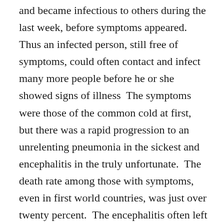and became infectious to others during the last week, before symptoms appeared.  Thus an infected person, still free of symptoms, could often contact and infect many more people before he or she showed signs of illness  The symptoms were those of the common cold at first, but there was a rapid progression to an unrelenting pneumonia in the sickest and encephalitis in the truly unfortunate.  The death rate among those with symptoms, even in first world countries, was just over twenty percent.  The encephalitis often left persisting neurologic effects in survivors.  And there was no specific treatment or vaccine.
In just four short months, by early April of the following year, it had spread to every continent